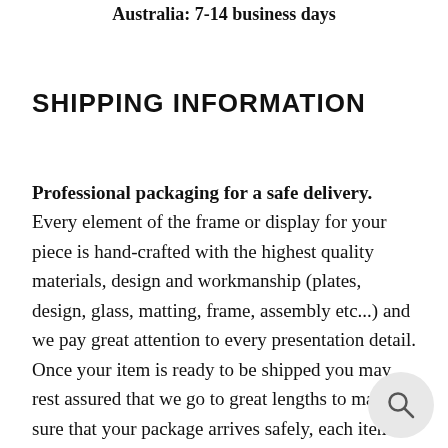Australia: 7-14 business days
SHIPPING INFORMATION
Professional packaging for a safe delivery. Every element of the frame or display for your piece is hand-crafted with the highest quality materials, design and workmanship (plates, design, glass, matting, frame, assembly etc...) and we pay great attention to every presentation detail. Once your item is ready to be shipped you may rest assured that we go to great lengths to make sure that your package arrives safely, each item is wrappe